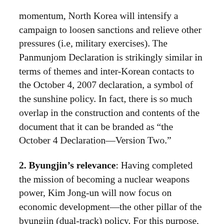momentum, North Korea will intensify a campaign to loosen sanctions and relieve other pressures (i.e, military exercises). The Panmunjom Declaration is strikingly similar in terms of themes and inter-Korean contacts to the October 4, 2007 declaration, a symbol of the sunshine policy. In fact, there is so much overlap in the construction and contents of the document that it can be branded as “the October 4 Declaration—Version Two.”
2. Byungjin’s relevance: Having completed the mission of becoming a nuclear weapons power, Kim Jong-un will now focus on economic development—the other pillar of the byungjin (dual-track) policy. For this purpose, he will vigorously utilize a newly forged trust and partnership with the South Korean government. However, the spirit and substance of